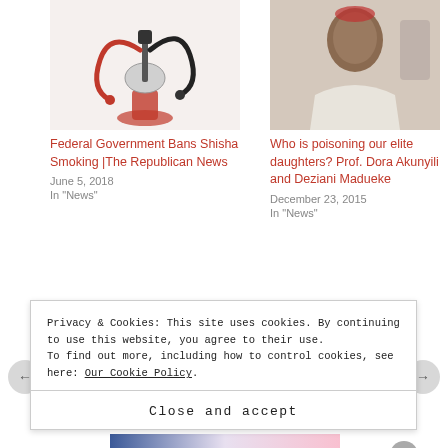[Figure (photo): Photo of a hookah/shisha pipe]
[Figure (photo): Photo of a person in a hospital or clinic setting wearing white]
Federal Government Bans Shisha Smoking |The Republican News
June 5, 2018
In "News"
Who is poisoning our elite daughters? Prof. Dora Akunyili and Deziani Madueke
December 23, 2015
In "News"
[Figure (other): Broken image placeholder with text: Image result for abdulaziz yari]
Privacy & Cookies: This site uses cookies. By continuing to use this website, you agree to their use.
To find out more, including how to control cookies, see here: Our Cookie Policy.
Close and accept